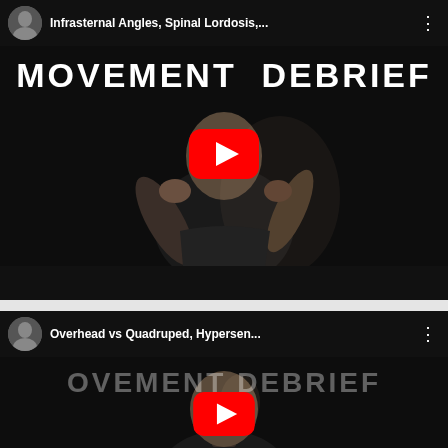[Figure (screenshot): YouTube video thumbnail for 'Infrasternal Angles, Spinal Lordosis,...' - Movement Debrief series. Shows a bald presenter gesturing on a dark background with large bold white 'MOVEMENT DEBRIEF' text and a red YouTube play button.]
[Figure (screenshot): YouTube video thumbnail for 'Overhead vs Quadruped, Hypersen...' - Movement Debrief series. Shows a bald presenter on a dark background with faint 'OVEMENT DEBRIEF' text and a red YouTube play button.]